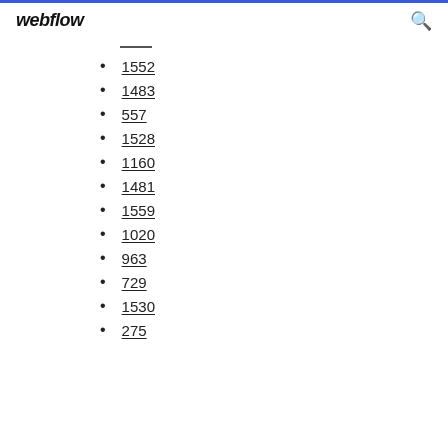webflow
1552
1483
557
1528
1160
1481
1559
1020
963
729
1530
275